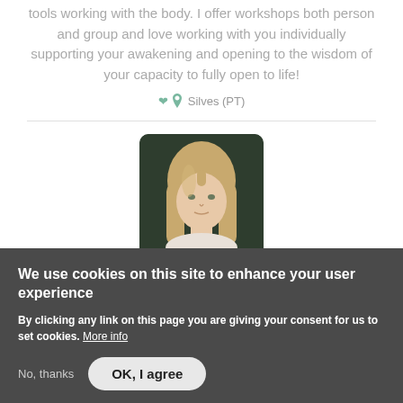tools working with the body. I offer workshops both person and group and love working with you individually supporting your awakening and opening to the wisdom of your capacity to fully open to life!
Silves (PT)
[Figure (photo): Profile photo of a blonde woman looking at camera, dark green background, rounded rectangle crop]
We use cookies on this site to enhance your user experience
By clicking any link on this page you are giving your consent for us to set cookies. More info
No, thanks   OK, I agree